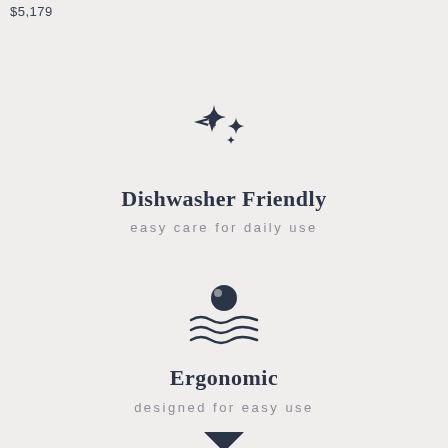$5,179
[Figure (illustration): Sparkle/stars icon (two four-pointed stars) in dark navy]
Dishwasher Friendly
easy care for daily use
[Figure (illustration): Dishwasher icon: circle/ball above wavy water lines in dark navy]
Ergonomic
designed for easy use
[Figure (illustration): Small downward triangle/funnel icon at bottom, dark navy]